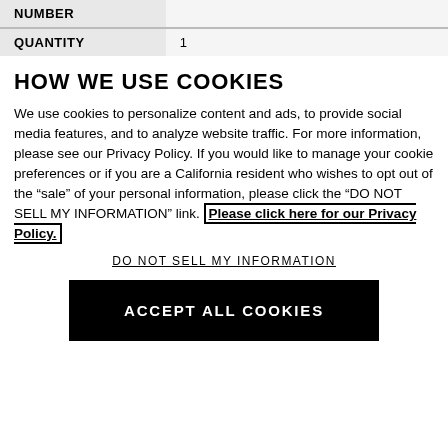| NUMBER |  |
| --- | --- |
| QUANTITY | 1 |
HOW WE USE COOKIES
We use cookies to personalize content and ads, to provide social media features, and to analyze website traffic. For more information, please see our Privacy Policy. If you would like to manage your cookie preferences or if you are a California resident who wishes to opt out of the "sale" of your personal information, please click the "DO NOT SELL MY INFORMATION" link. Please click here for our Privacy Policy.
DO NOT SELL MY INFORMATION
ACCEPT ALL COOKIES